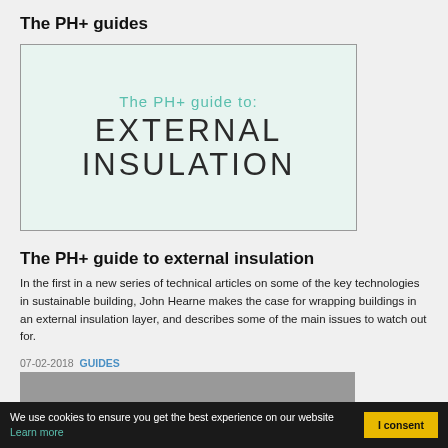The PH+ guides
[Figure (illustration): Book cover style image with light green background showing 'The PH+ guide to: EXTERNAL INSULATION' text]
The PH+ guide to external insulation
In the first in a new series of technical articles on some of the key technologies in sustainable building, John Hearne makes the case for wrapping buildings in an external insulation layer, and describes some of the main issues to watch out for.
07-02-2018 GUIDES
[Figure (photo): Partially visible photo at the bottom of the page]
We use cookies to ensure you get the best experience on our website Learn more